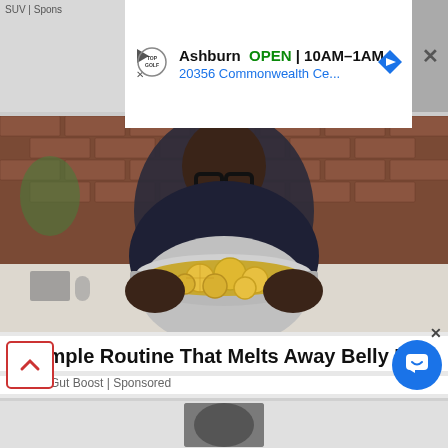[Figure (screenshot): Top advertisement banner: Topgolf Ashburn OPEN 10AM-1AM, 20356 Commonwealth Ce... with navigation arrow, close button, and SUV Sponsored label on left]
[Figure (photo): Photo of a man wearing glasses holding a pot filled with lemon slices in a kitchen setting with brick wall background]
1 Simple Routine That Melts Away Belly Fat
Health Gut Boost | Sponsored
[Figure (screenshot): Bottom advertisement banner: Topgolf Ashburn OPEN 10AM-1AM with chat bubble button, scroll up button, and close X]
[Figure (screenshot): Partial next content thumbnail visible at bottom]